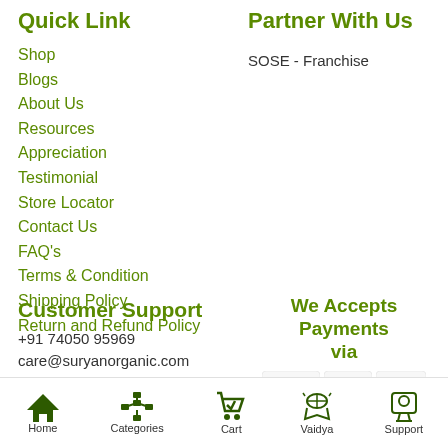Quick Link
Shop
Blogs
About Us
Resources
Appreciation
Testimonial
Store Locator
Contact Us
FAQ's
Terms & Condition
Shipping Policy
Return and Refund Policy
Partner With Us
SOSE - Franchise
Customer Support
+91 74050 95969
care@suryanorganic.com
We Accepts Payments via
[Figure (logo): Payment logos: VISA, Maestro, MasterCard]
Home | Categories | Cart | Vaidya | Support